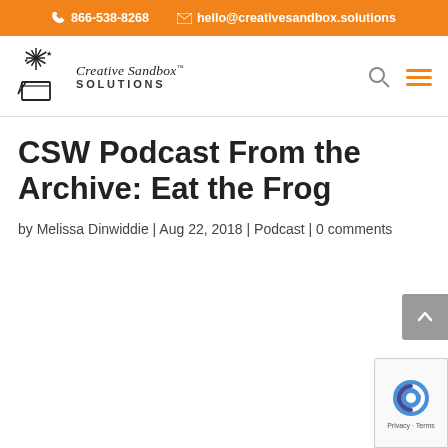866-538-8268  hello@creativesandbox.solutions
[Figure (logo): Creative Sandbox Solutions logo with fireworks/star graphic and italic serif text]
CSW Podcast From the Archive: Eat the Frog
by Melissa Dinwiddie | Aug 22, 2018 | Podcast | 0 comments